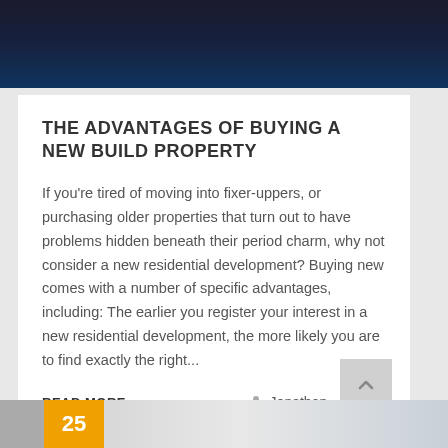[Figure (photo): Dark blue/black header image at top of page]
THE ADVANTAGES OF BUYING A NEW BUILD PROPERTY
If you're tired of moving into fixer-uppers, or purchasing older properties that turn out to have problems hidden beneath their period charm, why not consider a new residential development? Buying new comes with a number of specific advantages, including: The earlier you register your interest in a new residential development, the more likely you are to find exactly the right...
READ MORE >   Jonathan   0
[Figure (photo): Bottom teaser image with orange badge showing number 25]